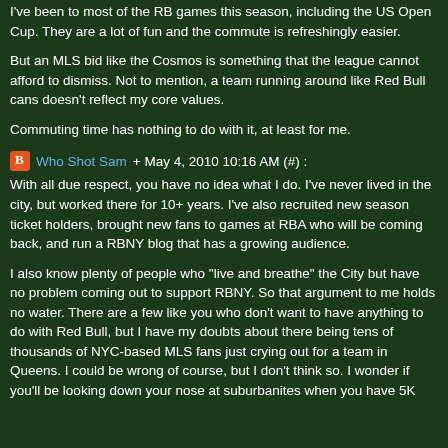I've been to most of the RB games this season, including the US Open Cup. They are a lot of fun and the commute is refreshingly easier.
But an MLS bid like the Cosmos is something that the league cannot afford to dismiss. Not to mention, a team running around like Red Bull cans doesn't reflect my core values.
Commuting time has nothing to do with it, at least for me.
Who Shot Sam + May 4, 2010 10:16 AM (#) :
With all due respect, you have no idea what I do. I've never lived in the city, but worked there for 10+ years. I've also recruited new season ticket holders, brought new fans to games at RBA who will be coming back, and run a RBNY blog that has a growing audience.
I also know plenty of people who "live and breathe" the City but have no problem coming out to support RBNY. So that argument to me holds no water. There are a few like you who don't want to have anything to do with Red Bull, but I have my doubts about there being tens of thousands of NYC-based MLS fans just crying out for a team in Queens. I could be wrong of course, but I don't think so. I wonder if you'll be looking down your nose at suburbanites when you have 5K